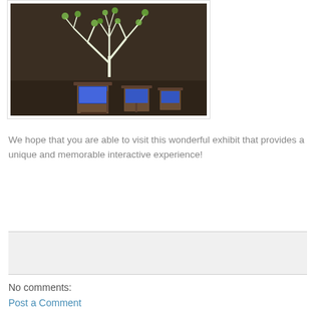[Figure (photo): A dark museum exhibit room showing a glowing white tree with green leaves projected onto a wall, with several wooden kiosk-style interactive touchscreen stations in the foreground.]
We hope that you are able to visit this wonderful exhibit that provides a unique and memorable interactive experience!
No comments:
Post a Comment